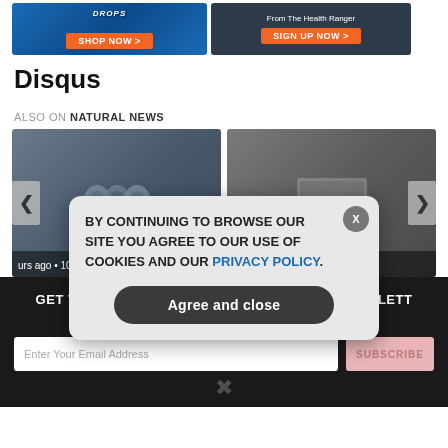[Figure (screenshot): Two advertisement banners: left shows product drops with SHOP NOW button, right shows From The Health Ranger with SIGN UP NOW button]
Disqus
ALSO ON NATURAL NEWS
[Figure (screenshot): Two article card thumbnails: left shows brain MRI scans with text 'urs ago • 10 comments', right shows fists on keyboard with text '11 hours ago • 4 comments'. Navigation arrows on left and right.]
[Figure (screenshot): Dark newsletter signup section: GET THE WORLD'S BEST NATURAL HEALTH NEWSLETTER DELIVERED STRAIGHT TO YOUR INBOX. Email input and SUBSCRIBE button. X close icon at bottom.]
BY CONTINUING TO BROWSE OUR SITE YOU AGREE TO OUR USE OF COOKIES AND OUR PRIVACY POLICY.
Agree and close